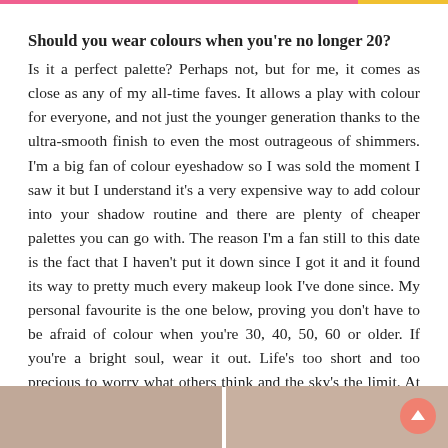Should you wear colours when you're no longer 20?
Is it a perfect palette? Perhaps not, but for me, it comes as close as any of my all-time faves. It allows a play with colour for everyone, and not just the younger generation thanks to the ultra-smooth finish to even the most outrageous of shimmers. I'm a big fan of colour eyeshadow so I was sold the moment I saw it but I understand it's a very expensive way to add colour into your shadow routine and there are plenty of cheaper palettes you can go with. The reason I'm a fan still to this date is the fact that I haven't put it down since I got it and it found its way to pretty much every makeup look I've done since. My personal favourite is the one below, proving you don't have to be afraid of colour when you're 30, 40, 50, 60 or older. If you're a bright soul, wear it out. Life's too short and too precious to worry what others think and the sky's the limit. At the end of the day, aren't we all 16 at heart?
[Figure (photo): Two cropped portrait photos of a woman's face side by side at the bottom of the page]